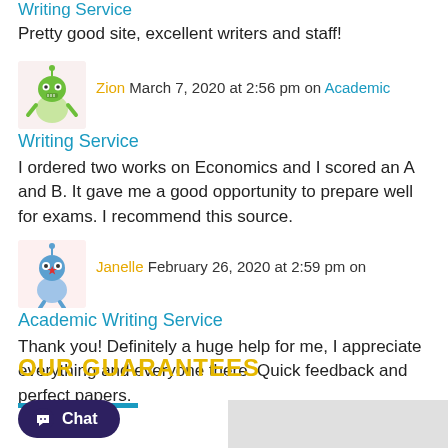Writing Service
Pretty good site, excellent writers and staff!
Zion March 7, 2020 at 2:56 pm on Academic Writing Service
I ordered two works on Economics and I scored an A and B. It gave me a good opportunity to prepare well for exams. I recommend this source.
Janelle February 26, 2020 at 2:59 pm on Academic Writing Service
Thank you! Definitely a huge help for me, I appreciate everything and everyone there. Quick feedback and perfect papers.
OUR GUARANTEES